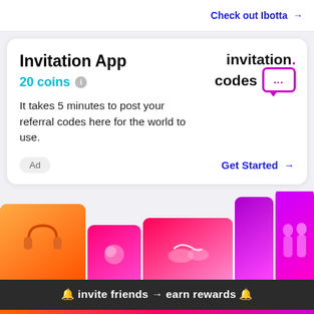Check out Ibotta →
Invitation App
20 coins ℹ
It takes 5 minutes to post your referral codes here for the world to use.
[Figure (logo): invitation.codes logo with chat bubble icon in magenta/purple]
Ad
Get Started →
[Figure (photo): Colorful banner with stacked rectangular panels showing headphones, food, hands, and silhouettes in orange, pink, and purple gradient tones]
🔔 invite friends → earn rewards 🔔
Explore  New post  My codes